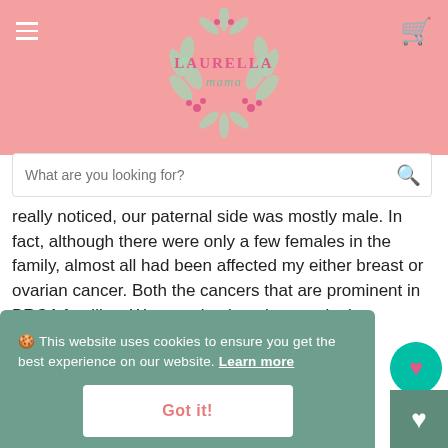[Figure (logo): Laurella Mama logo with floral wreath design on pink header background]
What are you looking for?
really noticed, our paternal side was mostly male. In fact, although there were only a few females in the family, almost all had been affected my either breast or ovarian cancer. Both the cancers that are prominent in BRCA families. We went back to the oncologist
🍪 This website uses cookies to ensure you get the best experience on our website. Learn more
Got it!
having blood taken and being very confident I would come back a